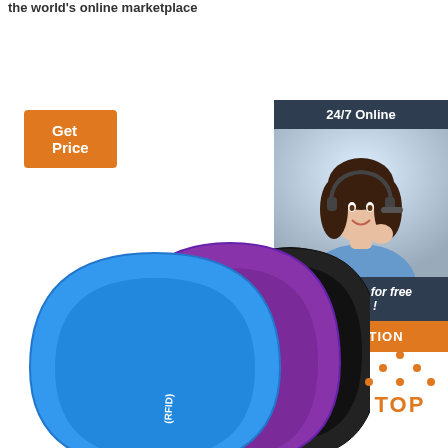the world's online marketplace
[Figure (illustration): Orange 'Get Price' button]
[Figure (illustration): Customer service panel showing a woman with headset, '24/7 Online' banner, 'Click here for free chat!' text, and orange QUOTATION button]
[Figure (photo): Three RFID silicone wristbands in blue, purple, and black colors with RFID logo text]
[Figure (illustration): Orange TOP icon with dots arranged in triangle pattern]